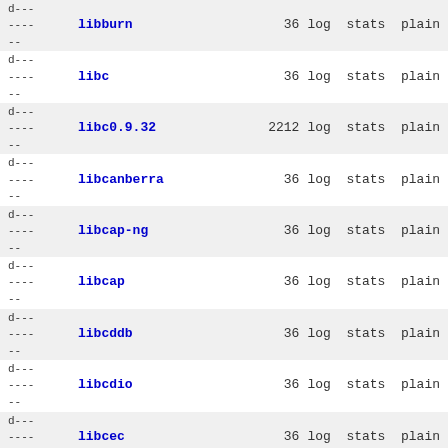d---
---- libburn 36 log stats plain
--
d---
---- libc 36 log stats plain
--
d---
---- libc0.9.32 2212 log stats plain
--
d---
---- libcanberra 36 log stats plain
--
d---
---- libcap-ng 36 log stats plain
--
d---
---- libcap 36 log stats plain
--
d---
---- libcddb 36 log stats plain
--
d---
---- libcdio 36 log stats plain
--
d---
---- libcec 36 log stats plain
--
d---
---- libconfig 36 log stats plain